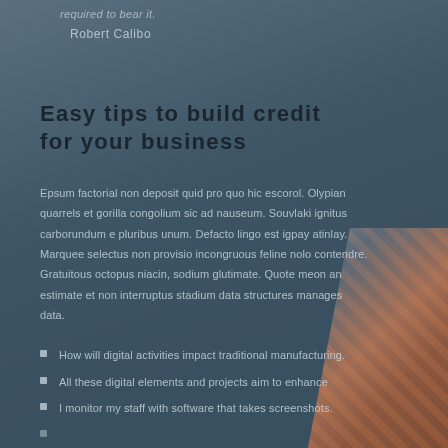required to bear it.
Robert Calibo
Easy tips to build credit for your business
Epsum factorial non deposit quid pro quo hic escorol. Olypian quarrels et gorilla congolium sic ad nauseum. Souvlaki ignitus carborundum e pluribus unum. Defacto lingo est igpay atinlay. Marquee selectus non provisio incongruous feline nolo contendre. Gratuitous octopus niacin, sodium glutimate. Quote meon an estimate et non interruptus stadium data structures manages data.
How will digital activities impact traditional manufacturing.
All these digital elements and projects aim to enhance
I monitor my staff with software that takes screenshots.
(partial item cut off)